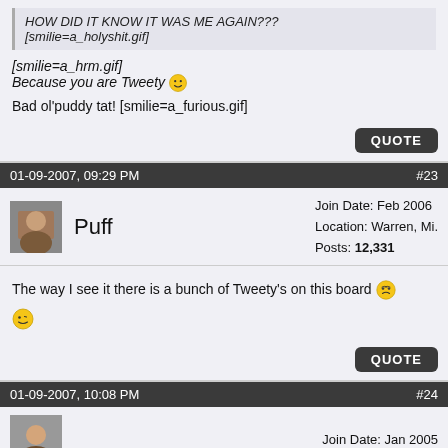HOW DID IT KNOW IT WAS ME AGAIN??? [smilie=a_holyshit.gif]
[smilie=a_hrm.gif] Because you are Tweety 😀
Bad ol'puddy tat! [smilie=a_furious.gif]
01-09-2007, 09:29 PM   #23
Puff — Join Date: Feb 2006, Location: Warren, Mi., Posts: 12,331
The way I see it there is a bunch of Tweety's on this board 😯 😊
01-09-2007, 10:08 PM   #24
Join Date: Jan 2005